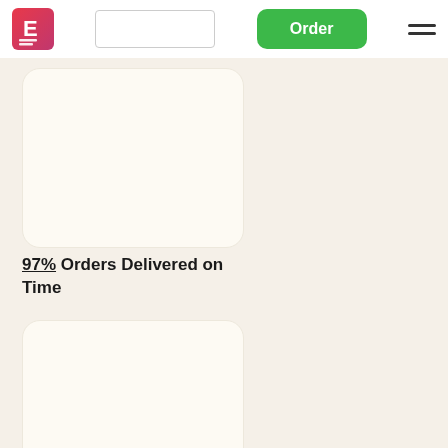[Figure (screenshot): Navigation bar with logo (stylized E icon in red/pink gradient with white lines), a search input box, a green Order button, and a hamburger menu icon]
[Figure (illustration): A white rounded card panel (top card, content cropped), on a cream/beige background]
97% Orders Delivered on Time
[Figure (illustration): A white rounded card panel (bottom card, content cropped), on a cream/beige background]